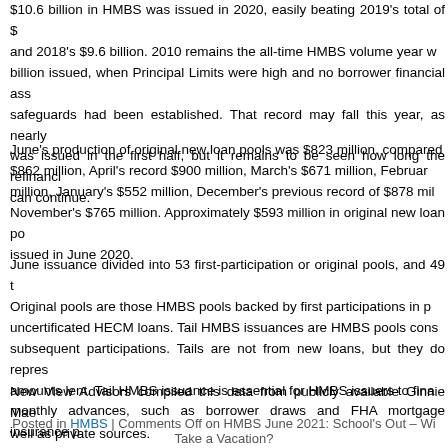$10.6 billion in HMBS was issued in 2020, easily beating 2019's total of $ and 2018's $9.6 billion. 2010 remains the all-time HMBS volume year w billion issued, when Principal Limits were high and no borrower financial ass safeguards had been established. That record may fall this year, as nearly was issued in the first half, but it remains to be seen how long the refinanci can continue.
June's production of original new loan pools was $823 million, compared $862 million, April's record $900 million, March's $671 million, Februar million, January's $552 million, December's previous record of $878 mil November's $765 million. Approximately $593 million in original new loan po issued in June 2020.
June issuance divided into 53 first-participation or original pools, and 49 t Original pools are those HMBS pools backed by first participations in p uncertificated HECM loans. Tail HMBS issuances are HMBS pools cons subsequent participations. Tails are not from new loans, but they do repres amounts lent. Tail HMBS issuance is essential for HMBS issuers to fina monthly advances, such as borrower draws and FHA mortgage insurance p Last month's tail pool issuances totaled $196 million, within the typical range
New View Advisors compiled this data from publicly available Ginnie Mae well as private sources.
Posted in HMBS | Comments Off on HMBS June 2021: School's Out – Wi Take a Vacation?